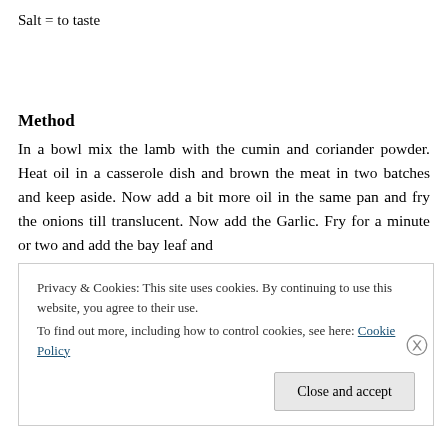Salt = to taste
Method
In a bowl mix the lamb with the cumin and coriander powder. Heat oil in a casserole dish and brown the meat in two batches and keep aside. Now add a bit more oil in the same pan and fry the onions till translucent. Now add the Garlic. Fry for a minute or two and add the bay leaf and
Privacy & Cookies: This site uses cookies. By continuing to use this website, you agree to their use.
To find out more, including how to control cookies, see here: Cookie Policy
Close and accept